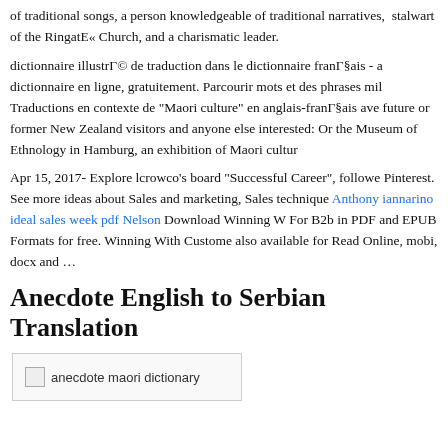of traditional songs, a person knowledgeable of traditional narratives, a stalwart of the RingatE« Church, and a charismatic leader.
dictionnaire illustrГ© de traduction dans le dictionnaire franГ§ais - a dictionnaire en ligne, gratuitement. Parcourir mots et des phrases mil Traductions en contexte de "Maori culture" en anglais-franГ§ais ave future or former New Zealand visitors and anyone else interested: Or the Museum of Ethnology in Hamburg, an exhibition of Maori cultur
Apr 15, 2017- Explore lcrowco’s board "Successful Career", followe Pinterest. See more ideas about Sales and marketing, Sales technique Anthony iannarino ideal sales week pdf Nelson Download Winning W For B2b in PDF and EPUB Formats for free. Winning With Custome also available for Read Online, mobi, docx and …
Anecdote English to Serbian Translation
[Figure (photo): Image placeholder with alt text: anecdote maori dictionary]